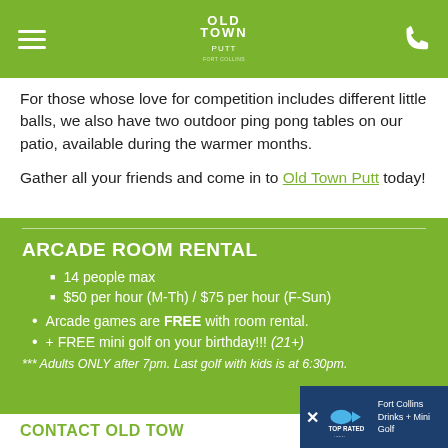Old Town Putt navigation header with menu, logo, and phone icon
For those whose love for competition includes different little balls, we also have two outdoor ping pong tables on our patio, available during the warmer months.
Gather all your friends and come in to Old Town Putt today!
ARCADE ROOM RENTAL
14 people max
$50 per hour (M-Th) / $75 per hour (F-Sun)
Arcade games are FREE with room rental.
+ FREE mini golf on your birthday!!! (21+)
*** Adults ONLY after 7pm. Last golf with kids is at 6:30pm.
CONTACT OLD TOWN
[Figure (other): Top Rated Local badge banner with Fort Collins Drinks + Mini Golf text]